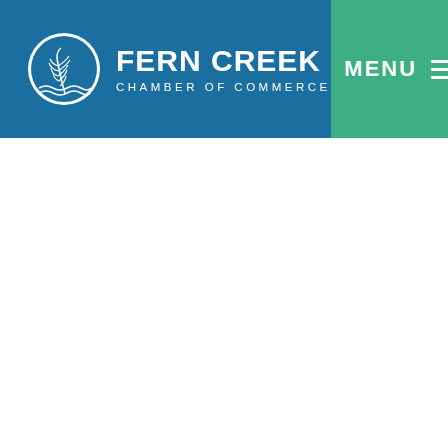[Figure (logo): Fern Creek Chamber of Commerce logo with blue header bar containing a circular white logo icon with a fern/creek graphic, large white text 'FERN CREEK' and subtitle 'CHAMBER OF COMMERCE', plus a green menu button on the right with 'MENU' text and hamburger icon]